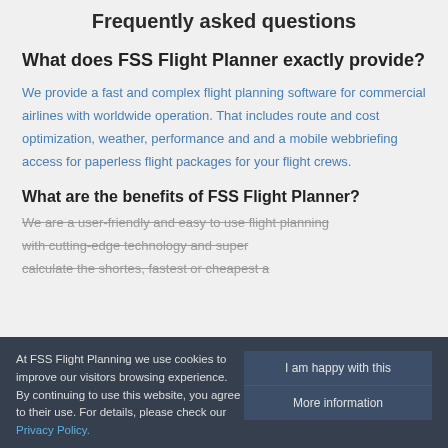Frequently asked questions
What does FSS Flight Planner exactly provide?
We provide a fast and complex flight planning software for commercial airlines with worldwide operation. That includes route and cost optimization, weather, performance and and a mobile webbriefing access for paperless flight packages for your flight crews.
What are the benefits of FSS Flight Planner?
We are a user-friendly and easy to use flight planning with cutting-edge technology and super calculate the shortes, fastest or cheapest a
At FSS Flight Planning we use cookies to improve our visitors browsing experience. By continuing to use this website, you agree to their use. For details, please check our Privacy Policy.
I am happy with this
More information